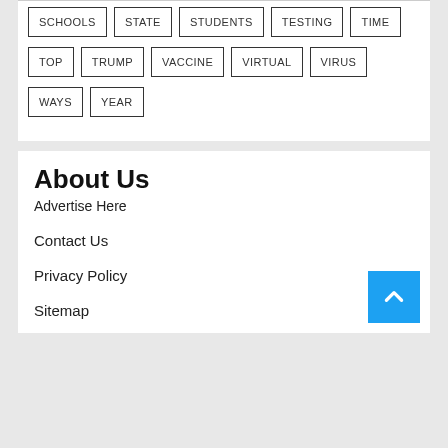SCHOOLS
STATE
STUDENTS
TESTING
TIME
TOP
TRUMP
VACCINE
VIRTUAL
VIRUS
WAYS
YEAR
About Us
Advertise Here
Contact Us
Privacy Policy
Sitemap